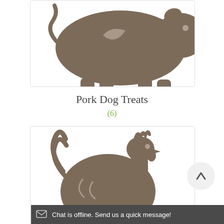[Figure (illustration): Silhouette of a pig in brownish-gray color on a white card background]
Pork Dog Treats
(6)
[Figure (illustration): Silhouette of a rooster/chicken in brownish-gray color on a white card background]
[Figure (illustration): Circular scroll-to-top button with an upward arrow]
Chat is offline. Send us a quick message!